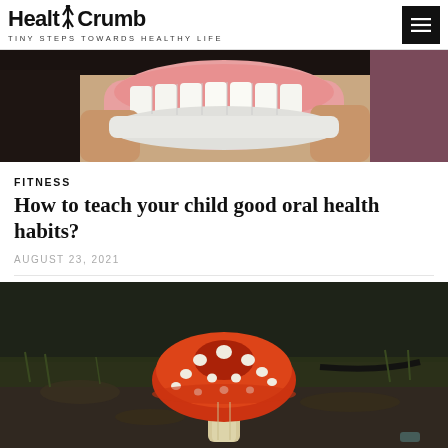HealthCrumb — TINY STEPS TOWARDS HEALTHY LIFE
[Figure (photo): Close-up photo of a dental model/denture being held up by hands]
FITNESS
How to teach your child good oral health habits?
AUGUST 23, 2021
[Figure (photo): Close-up photo of a red and white spotted fly agaric mushroom growing on forest floor among grass and leaf litter]